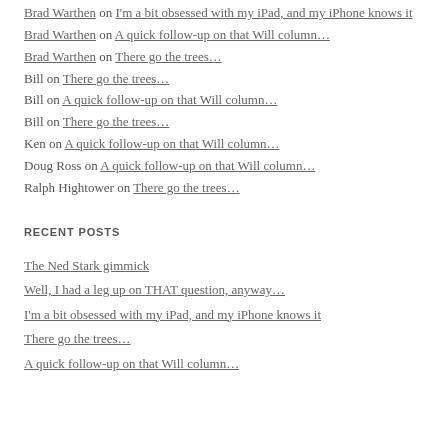Brad Warthen on I'm a bit obsessed with my iPad, and my iPhone knows it
Brad Warthen on A quick follow-up on that Will column…
Brad Warthen on There go the trees…
Bill on There go the trees…
Bill on A quick follow-up on that Will column…
Bill on There go the trees…
Ken on A quick follow-up on that Will column…
Doug Ross on A quick follow-up on that Will column…
Ralph Hightower on There go the trees…
RECENT POSTS
The Ned Stark gimmick
Well, I had a leg up on THAT question, anyway…
I'm a bit obsessed with my iPad, and my iPhone knows it
There go the trees…
A quick follow-up on that Will column…